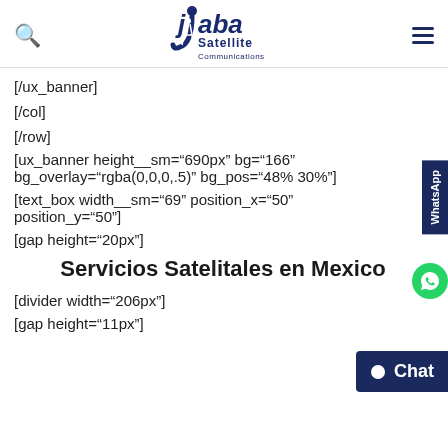[Figure (logo): Jaba Satellite Communications logo with stylized figure and dark blue text]
[/ux_banner]
[/col]
[/row]
[ux_banner height__sm="690px" bg="166" bg_overlay="rgba(0,0,0,.5)" bg_pos="48% 30%"]
[text_box width__sm="69" position_x="50" position_y="50"]
[gap height="20px"]
Servicios Satelitales en Mexico
[divider width="206px"]
[gap height="11px"]